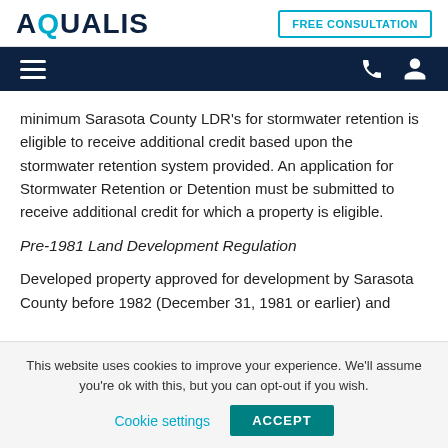AQUALIS | FREE CONSULTATION
minimum Sarasota County LDR's for stormwater retention is eligible to receive additional credit based upon the stormwater retention system provided. An application for Stormwater Retention or Detention must be submitted to receive additional credit for which a property is eligible.
Pre-1981 Land Development Regulation
Developed property approved for development by Sarasota County before 1982 (December 31, 1981 or earlier) and
This website uses cookies to improve your experience. We'll assume you're ok with this, but you can opt-out if you wish.